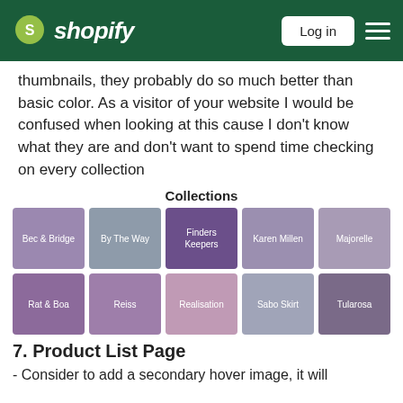Shopify — Log in
thumbnails, they probably do so much better than basic color. As a visitor of your website I would be confused when looking at this cause I don't know what they are and don't want to spend time checking on every collection
Collections
[Figure (other): A 5x2 grid of purple/mauve colored collection tiles labeled: Bec & Bridge, By The Way, Finders Keepers, Karen Millen, Majorelle (top row); Rat & Boa, Reiss, Realisation, Sabo Skirt, Tularosa (bottom row)]
7. Product List Page
- Consider to add a secondary hover image, it will